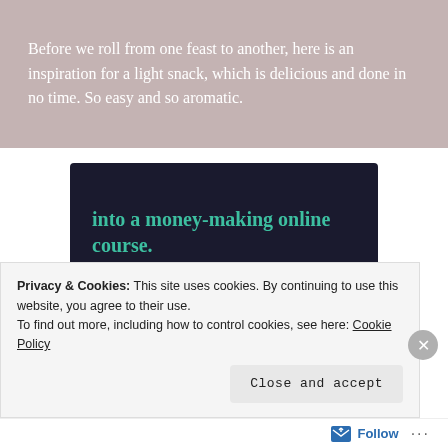Before we roll from one feast to another, here is an inspiration for a light snack, which is delicious and done in no time. So easy and so aromatic.
[Figure (infographic): Dark background advertisement banner with teal text reading 'into a money-making online course.' and a teal 'Learn More' button, plus a Sensei logo.]
Privacy & Cookies: This site uses cookies. By continuing to use this website, you agree to their use.
To find out more, including how to control cookies, see here: Cookie Policy
Close and accept
Follow